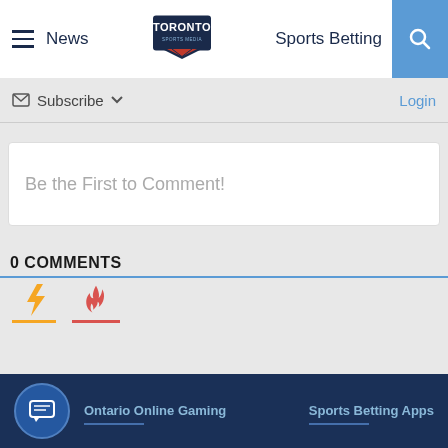News | Toronto Sports Media | Sports Betting
Subscribe | Login
Be the First to Comment!
0 COMMENTS
[Figure (other): Icon tabs with lightning bolt and fire emoji, yellow and red underlines]
Ontario Online Gaming | Sports Betting Apps